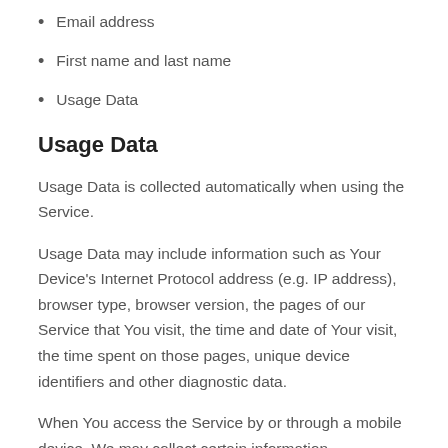Email address
First name and last name
Usage Data
Usage Data
Usage Data is collected automatically when using the Service.
Usage Data may include information such as Your Device’s Internet Protocol address (e.g. IP address), browser type, browser version, the pages of our Service that You visit, the time and date of Your visit, the time spent on those pages, unique device identifiers and other diagnostic data.
When You access the Service by or through a mobile device, We may collect certain information automatically, including, but not limited to, the type of mobile device You use, Your